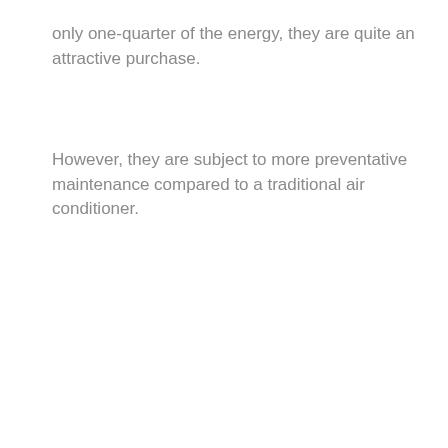only one-quarter of the energy, they are quite an attractive purchase.
However, they are subject to more preventative maintenance compared to a traditional air conditioner.